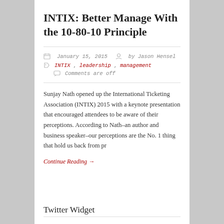INTIX: Better Manage With the 10-80-10 Principle
January 15, 2015  by Jason Hensel
INTIX, leadership, management
Comments are off
Sunjay Nath opened up the International Ticketing Association (INTIX) 2015 with a keynote presentation that encouraged attendees to be aware of their perceptions. According to Nath–an author and business speaker–our perceptions are the No. 1 thing that hold us back from pr
Continue Reading →
Twitter Widget